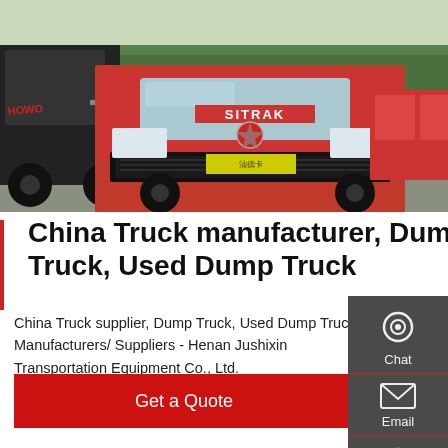[Figure (photo): Outdoor truck yard with multiple large red and dark dump trucks and heavy-duty vehicles parked, orange/red SITRAK truck prominent in center, trees in background]
China Truck manufacturer, Dump Truck, Used Dump Truck
China Truck supplier, Dump Truck, Used Dump Truck Manufacturers/ Suppliers - Henan Jushixin Transportation Equipment Co., Ltd.
Get a Quote